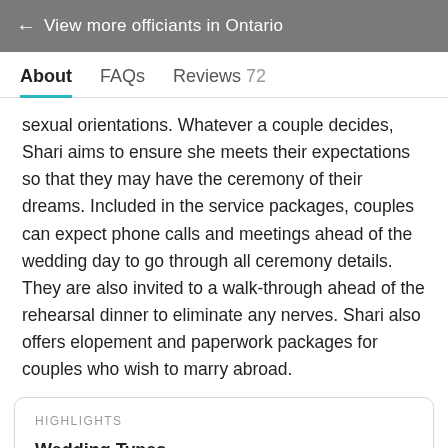← View more officiants in Ontario
About   FAQs   Reviews 72
sexual orientations. Whatever a couple decides, Shari aims to ensure she meets their expectations so that they may have the ceremony of their dreams. Included in the service packages, couples can expect phone calls and meetings ahead of the wedding day to go through all ceremony details. They are also invited to a walk-through ahead of the rehearsal dinner to eliminate any nerves. Shari also offers elopement and paperwork packages for couples who wish to marry abroad.
HIGHLIGHTS
Wedding Types
Civil union, single religion, interfaith ceremony, non-